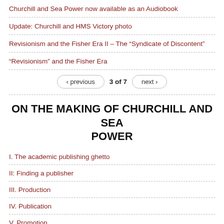Churchill and Sea Power now available as an Audiobook
Update: Churchill and HMS Victory photo
Revisionism and the Fisher Era II – The “Syndicate of Discontent”
“Revisionism” and the Fisher Era
‹ previous   3 of 7   next ›
ON THE MAKING OF CHURCHILL AND SEA POWER
I. The academic publishing ghetto
II: Finding a publisher
III. Production
IV. Publication
V. Promotion